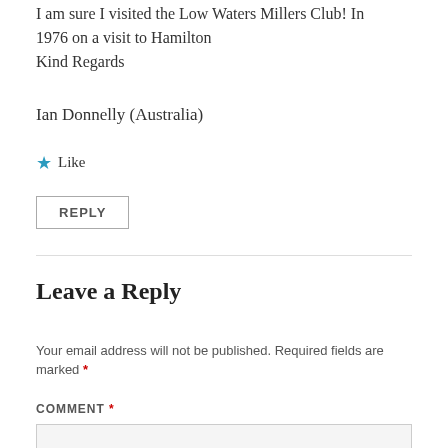I am sure I visited the Low Waters Millers Club! In 1976 on a visit to Hamilton
Kind Regards
Ian Donnelly (Australia)
★ Like
REPLY
Leave a Reply
Your email address will not be published. Required fields are marked *
COMMENT *